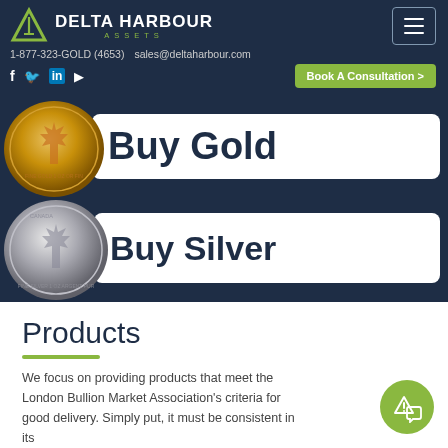Delta Harbour Assets | 1-877-323-GOLD (4653) | sales@deltaharbour.com | Book A Consultation >
[Figure (screenshot): Hero section with gold coin and 'Buy Gold' button and silver coin and 'Buy Silver' button on dark navy background]
Products
We focus on providing products that meet the London Bullion Market Association's criteria for good delivery. Simply put, it must be consistent in its